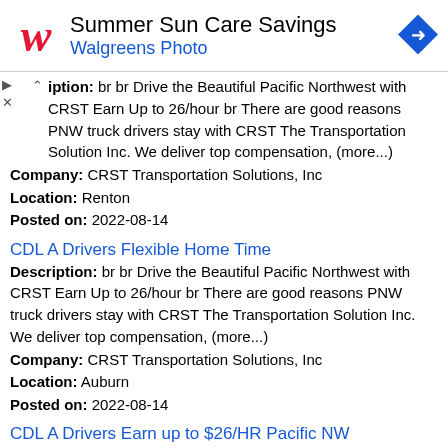[Figure (other): Walgreens advertisement banner: Summer Sun Care Savings, Walgreens Photo, with Walgreens logo and navigation arrow icon]
iption: br br Drive the Beautiful Pacific Northwest with CRST Earn Up to 26/hour br There are good reasons PNW truck drivers stay with CRST The Transportation Solution Inc. We deliver top compensation, (more...)
Company: CRST Transportation Solutions, Inc
Location: Renton
Posted on: 2022-08-14
CDL A Drivers Flexible Home Time
Description: br br Drive the Beautiful Pacific Northwest with CRST Earn Up to 26/hour br There are good reasons PNW truck drivers stay with CRST The Transportation Solution Inc. We deliver top compensation, (more...)
Company: CRST Transportation Solutions, Inc
Location: Auburn
Posted on: 2022-08-14
CDL A Drivers Earn up to $26/HR Pacific NW
Description: br br Drive the Beautiful Pacific Northwest with CRST Earn Up to 26/hour br There are good reasons PNW truck drivers stay with CRST The Transportation Solution Inc. We deliver top compensation, (more...)
Company: CRST Transportation Solutions, Inc